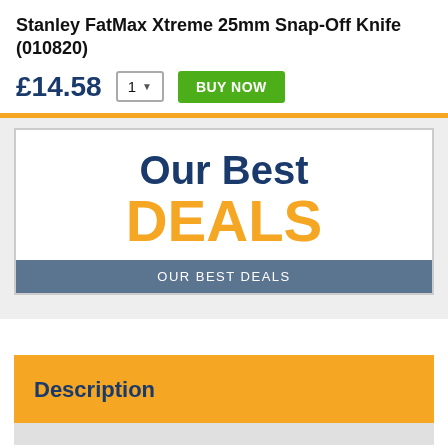Stanley FatMax Xtreme 25mm Snap-Off Knife (010820)
£14.58
[Figure (infographic): Our Best DEALS promotional banner with navy blue 'Our Best' text and orange 'DEALS' text, with a steel blue footer bar reading 'OUR BEST DEALS']
Description